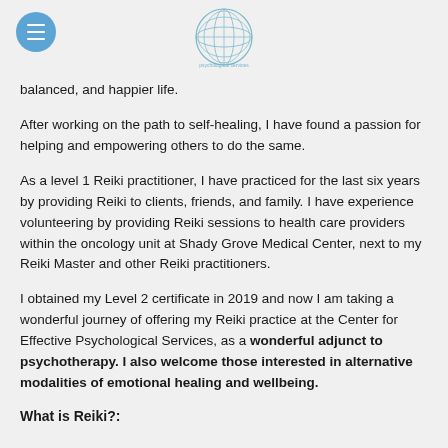[Logo: Center for Effective Psychological Services globe icon]
balanced, and happier life.
After working on the path to self-healing, I have found a passion for helping and empowering others to do the same.
As a level 1 Reiki practitioner, I have practiced for the last six years by providing Reiki to clients, friends, and family. I have experience volunteering by providing Reiki sessions to health care providers within the oncology unit at Shady Grove Medical Center, next to my Reiki Master and other Reiki practitioners.
I obtained my Level 2 certificate in 2019 and now I am taking a wonderful journey of offering my Reiki practice at the Center for Effective Psychological Services, as a wonderful adjunct to psychotherapy. I also welcome those interested in alternative modalities of emotional healing and wellbeing.
What is Reiki?: